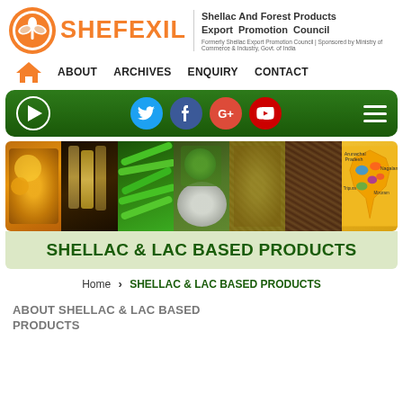[Figure (logo): SHEFEXIL logo with orange leaf icon and text 'Shellac And Forest Products Export Promotion Council'. Formerly Shellac Export Promotion Council. Sponsored by Ministry of Commerce & Industry, Govt. of India.]
ABOUT  ARCHIVES  ENQUIRY  CONTACT
[Figure (screenshot): Dark green social media bar with play button, Twitter, Facebook, Google+, YouTube icons and hamburger menu]
[Figure (photo): Banner with 7 segments showing shellac/forest products: golden resin, oil bottles, green beans, herbs in mortar, dried seeds, woven material, India map]
SHELLAC & LAC BASED PRODUCTS
Home > SHELLAC & LAC BASED PRODUCTS
ABOUT SHELLAC & LAC BASED PRODUCTS